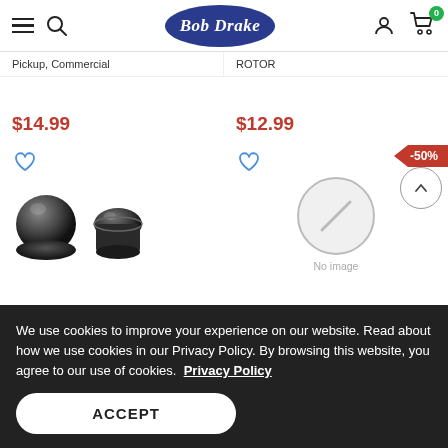Bob Drake
Pickup, Commercial
ROTOR
$14.99
$12.99
[Figure (photo): Dark metallic round knob product image]
[Figure (photo): Dark metallic domed cap product image]
[Figure (photo): No image placeholder with -50% discount badge]
We use cookies to improve your experience on our website. Read about how we use cookies in our Privacy Policy. By browsing this website, you agree to our use of cookies.  Privacy Policy
ACCEPT